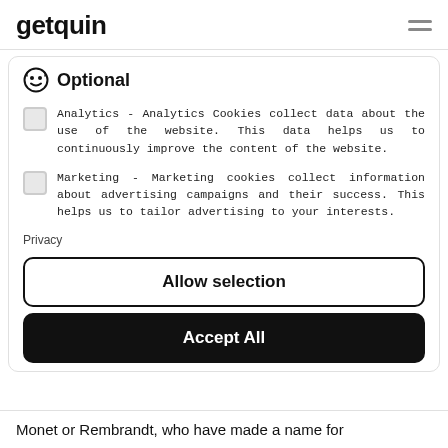getquin
Optional
Analytics - Analytics Cookies collect data about the use of the website. This data helps us to continuously improve the content of the website.
Marketing - Marketing cookies collect information about advertising campaigns and their success. This helps us to tailor advertising to your interests.
Privacy
Allow selection
Accept All
Monet or Rembrandt, who have made a name for